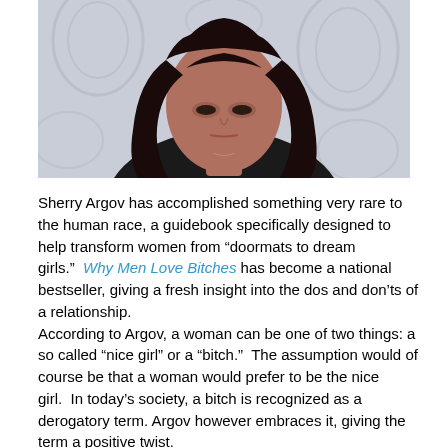[Figure (photo): Portrait photo of Sherry Argov, a woman with long dark wavy hair wearing a black top, posed against a decorative floral wallpaper background.]
Sherry Argov has accomplished something very rare to the human race, a guidebook specifically designed to help transform women from “doormats to dream girls.”  Why Men Love Bitches has become a national bestseller, giving a fresh insight into the dos and don’ts of a relationship. According to Argov, a woman can be one of two things: a so called “nice girl” or a “bitch.”  The assumption would of course be that a woman would prefer to be the nice girl.  In today’s society, a bitch is recognized as a derogatory term. Argov however embraces it, giving the term a positive twist.